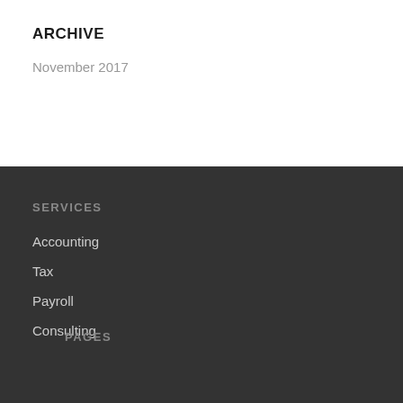ARCHIVE
November 2017
SERVICES
Accounting
Tax
Payroll
Consulting
PAGES